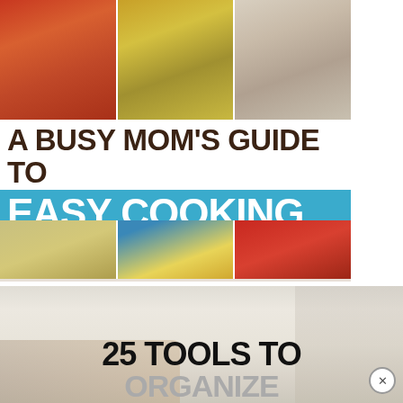[Figure (photo): Book cover: A Busy Mom's Guide to Easy Cooking - top food photo collage showing lasagna, taco casserole, and creamy dish]
A BUSY MOM'S GUIDE TO
EASY COOKING
time-saving tips and family favorite recipes
[Figure (photo): Book cover bottom food photo collage showing pot pie, cheesy casserole in blue bowl, and lasagna]
[Figure (photo): Kitchen background image with white cabinets, sink, and stove. Overlay text reads '25 TOOLS TO ORGANIZE']